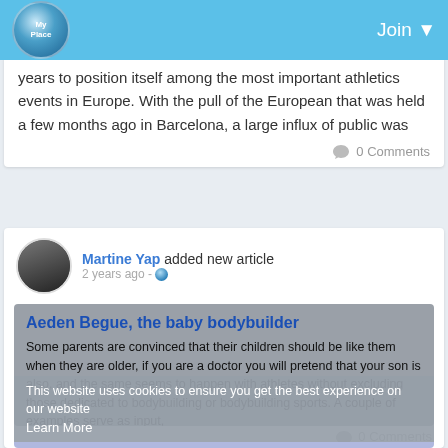Join
years to position itself among the most important athletics events in Europe. With the pull of the European that was held a few months ago in Barcelona, a large influx of public was
0 Comments
Martine Yap added new article
2 years ago
Aeden Begue, the baby bodybuilder
Some parents are convinced that their children should be like them when they are older, if you are a doctor you will pretend that your son is also, and the same seems to happen with athletes without excluding those dedicated to bodybuilding or bodybuilding sports. A couple of examples serve as input,
This website uses cookies to ensure you get the best experience on our website
Learn More
Got it!
0 Comments